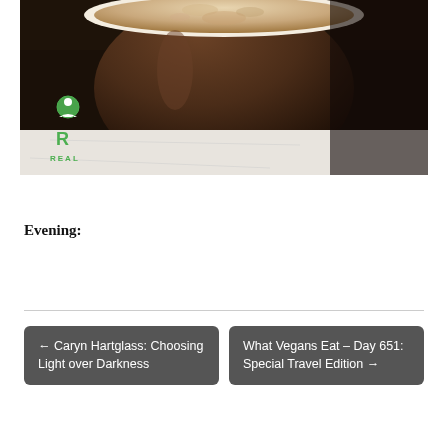[Figure (photo): Close-up photo of a coffee or latte drink in a dark ceramic cup on a white napkin, with a green 'REAL' logo watermark in the bottom-left corner.]
Evening:
← Caryn Hartglass: Choosing Light over Darkness
What Vegans Eat – Day 651: Special Travel Edition →